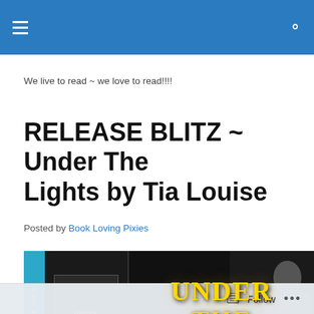Navigation bar with hamburger menu and search icon
We live to read ~ we love to read!!!!
RELEASE BLITZ ~ Under The Lights by Tia Louise
Posted by Book Loving Pixies
[Figure (photo): Book promotional banner for 'Under The Lights' by Tia Louise. Features a blue sidebar with 'AVAILABLE NOW' text vertically, a book cover thumbnail on the left, golden title text 'UNDER THE LIGHTS' in the center, and a male figure on the right.]
Follow  ...